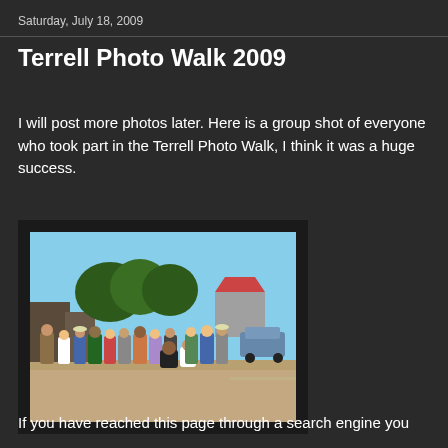Saturday, July 18, 2009
Terrell Photo Walk 2009
I will post more photos later. Here is a group shot of everyone who took part in the Terrell Photo Walk, I think it was a huge success.
[Figure (photo): Group photo of participants in the Terrell Photo Walk 2009, standing on a street in a small town on a sunny day. Large group of people, trees and buildings visible in the background.]
If you have reached this page through a search engine you